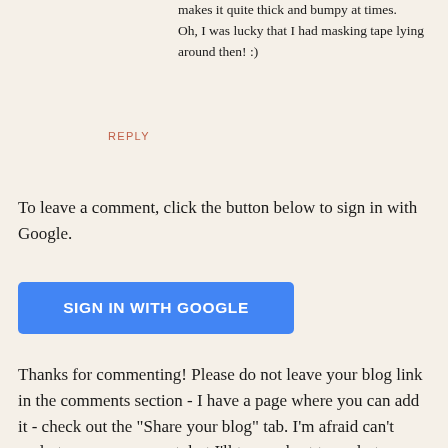makes it quite thick and bumpy at times. Oh, I was lucky that I had masking tape lying around then! :)
REPLY
To leave a comment, click the button below to sign in with Google.
[Figure (other): Blue 'SIGN IN WITH GOOGLE' button]
Thanks for commenting! Please do not leave your blog link in the comments section - I have a page where you can add it - check out the "Share your blog" tab. I'm afraid can't reply to every comment, but I'll try my best to reply to